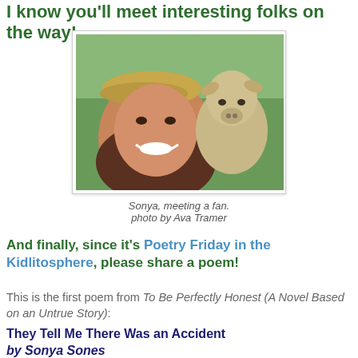I know you'll meet interesting folks on the way!
[Figure (photo): A smiling woman wearing a tan beret next to a goat, photographed outdoors.]
Sonya, meeting a fan.
photo by Ava Tramer
And finally, since it's Poetry Friday in the Kidlitosphere, please share a poem!
This is the first poem from To Be Perfectly Honest (A Novel Based on an Untrue Story):
They Tell Me There Was an Accident
by Sonya Sones